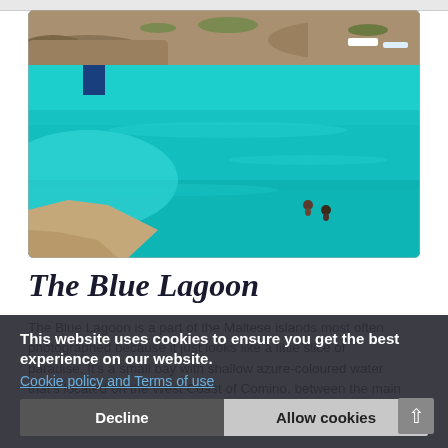[Figure (photo): Aerial view of the Blue Lagoon, Malta — vivid turquoise and azure shallow waters with rocky shoreline and two people wading in the water. Boats visible in upper right corner.]
The Blue Lagoon
The Blue Lagoon is a part of the Maltese islands most often photographed because it just looks like a little slice of paradise. It's a small bay with shallow azure-coloured water that's located on the West Coast of Comino, between the main
This website uses cookies to ensure you get the best experience on our website.
Cookie policy and Terms of use
Decline   Allow cookies